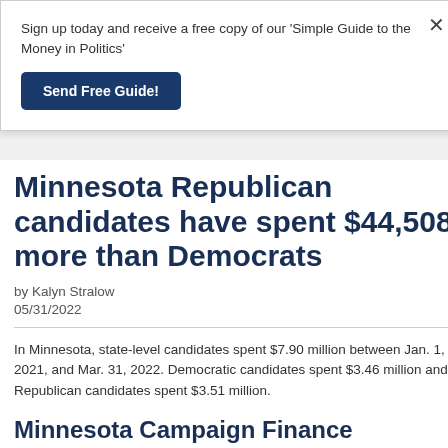Sign up today and receive a free copy of our 'Simple Guide to the Money in Politics'
Send Free Guide!
Minnesota Republican candidates have spent $44,508 more than Democrats
by Kalyn Stralow
05/31/2022
In Minnesota, state-level candidates spent $7.90 million between Jan. 1, 2021, and Mar. 31, 2022. Democratic candidates spent $3.46 million and Republican candidates spent $3.51 million.
Minnesota Campaign Finance Snapshot (1/1/2021 – 3/31/2022)